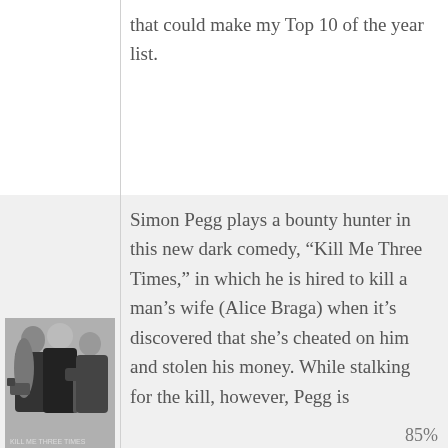that could make my Top 10 of the year list.
Simon Pegg plays a bounty hunter in this new dark comedy, “Kill Me Three Times,” in which he is hired to kill a man’s wife (Alice Braga) when it’s discovered that she’s cheated on him and stolen his money. While stalking for the kill, however, Pegg is
[Figure (photo): Movie still or promotional image showing three people, including a bald man holding a hammer, likely from the film 'Kill Me Three Times']